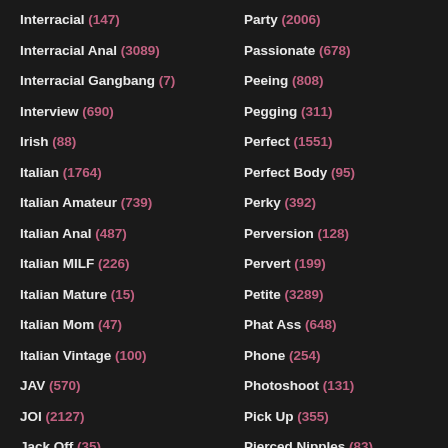Interracial (147)
Interracial Anal (3089)
Interracial Gangbang (7)
Interview (690)
Irish (88)
Italian (1764)
Italian Amateur (739)
Italian Anal (487)
Italian MILF (226)
Italian Mature (15)
Italian Mom (47)
Italian Vintage (100)
JAV (570)
JOI (2127)
Jack Off (35)
Jacuzzi (25)
Party (2006)
Passionate (678)
Peeing (808)
Pegging (311)
Perfect (1551)
Perfect Body (95)
Perky (392)
Perversion (128)
Pervert (199)
Petite (3289)
Phat Ass (648)
Phone (254)
Photoshoot (131)
Pick Up (355)
Pierced Nipples (83)
Pierced Pussy (469)